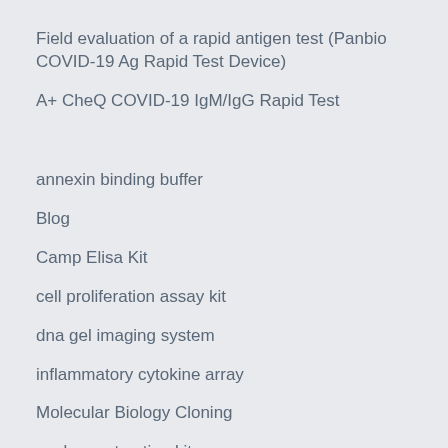Field evaluation of a rapid antigen test (Panbio COVID-19 Ag Rapid Test Device)
A+ CheQ COVID-19 IgM/IgG Rapid Test
annexin binding buffer
Blog
Camp Elisa Kit
cell proliferation assay kit
dna gel imaging system
inflammatory cytokine array
Molecular Biology Cloning
nuclear extraction kit